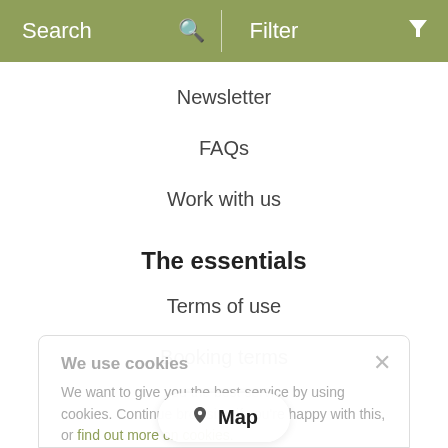Search | Filter
Newsletter
FAQs
Work with us
The essentials
Terms of use
Booking terms
Privacy
Cookies
We use cookies
We want to give you the best service by using cookies. Continue browsing if you're happy with this, or find out more on cookies.
Map